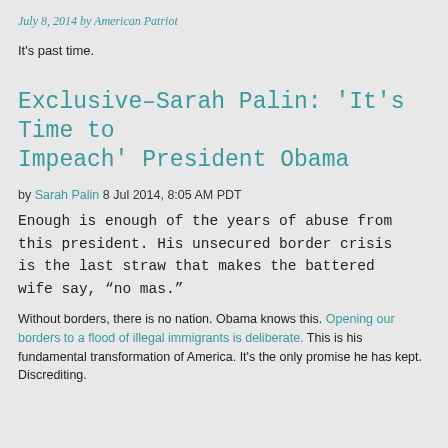July 8, 2014 by American Patriot
It's past time.
Exclusive–Sarah Palin: 'It's Time to Impeach' President Obama
by Sarah Palin 8 Jul 2014, 8:05 AM PDT
Enough is enough of the years of abuse from this president. His unsecured border crisis is the last straw that makes the battered wife say, “no mas.”
Without borders, there is no nation. Obama knows this. Opening our borders to a flood of illegal immigrants is deliberate. This is his fundamental transformation of America. It’s the only promise he has kept. Discrediting.